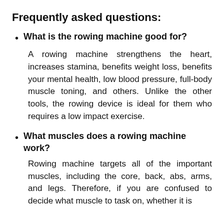Frequently asked questions:
What is the rowing machine good for?
A rowing machine strengthens the heart, increases stamina, benefits weight loss, benefits your mental health, low blood pressure, full-body muscle toning, and others. Unlike the other tools, the rowing device is ideal for them who requires a low impact exercise.
What muscles does a rowing machine work?
Rowing machine targets all of the important muscles, including the core, back, abs, arms, and legs. Therefore, if you are confused to decide what muscle to task on, whether it is